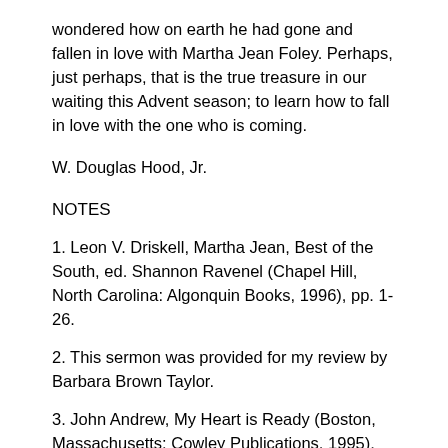wondered how on earth he had gone and fallen in love with Martha Jean Foley. Perhaps, just perhaps, that is the true treasure in our waiting this Advent season; to learn how to fall in love with the one who is coming.
W. Douglas Hood, Jr.
NOTES
1. Leon V. Driskell, Martha Jean, Best of the South, ed. Shannon Ravenel (Chapel Hill, North Carolina: Algonquin Books, 1996), pp. 1-26.
2. This sermon was provided for my review by Barbara Brown Taylor.
3. John Andrew, My Heart is Ready (Boston, Massachusetts: Cowley Publications, 1995), pp. 3-8.
4. Stanley Hauerwas, Like Those Who Dream, The Bible in Theology & Preaching:How Preachers Use